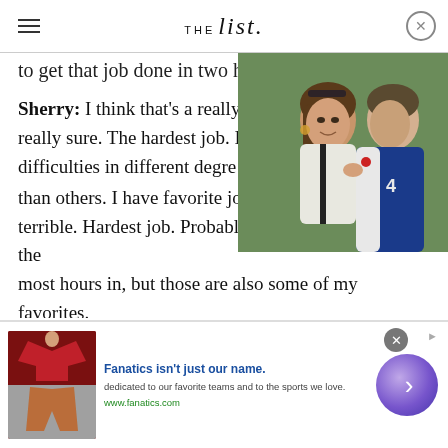THE List
to get that job done in two h...
Sherry: I think that's a really really sure. The hardest job. I difficulties in different degre than others. I have favorite jobs, which sounds terrible. Hardest job. Probably just the ones we put the most hours in, but those are also some of my favorites. So I can't say. I don't know. I don't have a full answer to that. I apologize.
[Figure (photo): A woman with brown hair and sunglasses on her head leans toward a man in a blue and white polo shirt, appearing to whisper or kiss his cheek.]
[Figure (advertisement): Fanatics ad banner with clothing images, text: Fanatics isn't just our name. dedicated to our favorite teams and to the sports we love. www.fanatics.com]